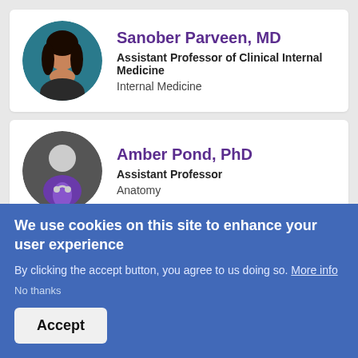[Figure (photo): Circular profile photo of Sanober Parveen, MD — woman with long dark hair against a teal background]
Sanober Parveen, MD
Assistant Professor of Clinical Internal Medicine
Internal Medicine
[Figure (illustration): Circular generic doctor avatar icon — grey background with white silhouette and purple medical coat with stethoscope]
Amber Pond, PhD
Assistant Professor
Anatomy
We use cookies on this site to enhance your user experience
By clicking the accept button, you agree to us doing so. More info
No thanks
Accept